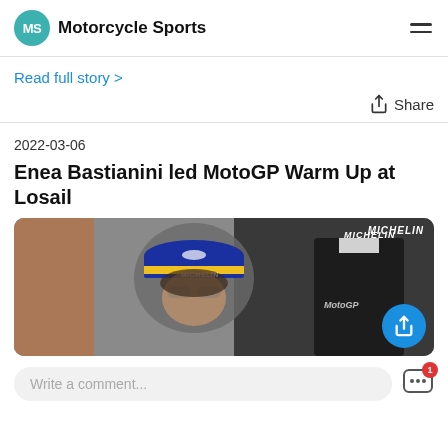MS Motorcycle Sports
Read full story >
Share
2022-03-06
Enea Bastianini led MotoGP Warm Up at Losail
[Figure (photo): Photo of a person wearing a blue and yellow Michelin cap and sunglasses, with a MICHELIN branded background and MotoGP logos visible.]
Write a comment...